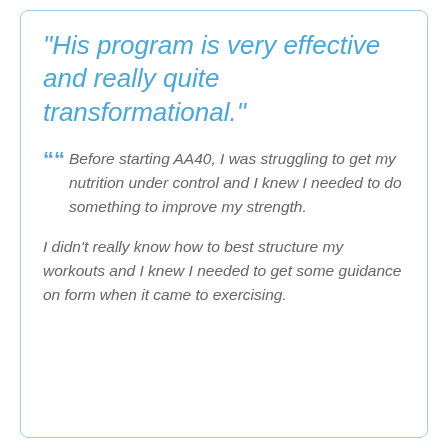"His program is very effective and really quite transformational."
Before starting AA40, I was struggling to get my nutrition under control and I knew I needed to do something to improve my strength.
I didn't really know how to best structure my workouts and I knew I needed to get some guidance on form when it came to exercising.